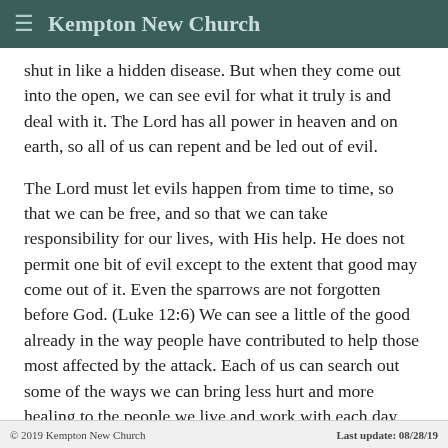≡ Kempton New Church
shut in like a hidden disease. But when they come out into the open, we can see evil for what it truly is and deal with it. The Lord has all power in heaven and on earth, so all of us can repent and be led out of evil.
The Lord must let evils happen from time to time, so that we can be free, and so that we can take responsibility for our lives, with His help. He does not permit one bit of evil except to the extent that good may come out of it. Even the sparrows are not forgotten before God. (Luke 12:6) We can see a little of the good already in the way people have contributed to help those most affected by the attack. Each of us can search out some of the ways we can bring less hurt and more healing to the people we live and work with each day. Then more of us will be glad to come live in the heavenly mansions the Lord is preparing for us, when it's the right time.
© 2019 Kempton New Church    Last update: 08/28/19